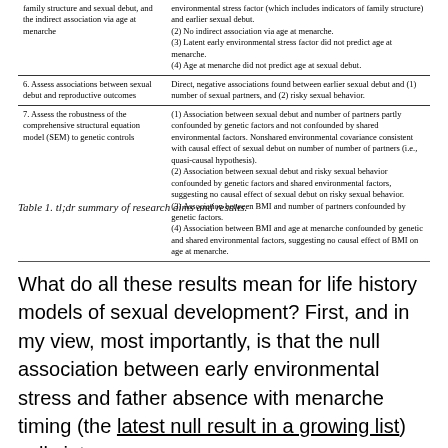| Aim | Result |
| --- | --- |
| family structure and sexual debut, and the indirect association via age at menarche | environmental stress factor (which includes indicators of family structure) and earlier sexual debut.
(2) No indirect association via age at menarche.
(3) Latent early environmental stress factor did not predict age at menarche.
(4) Age at menarche did not predict age at sexual debut. |
| 6. Assess associations between sexual debut and reproductive outcomes | Direct, negative associations found between earlier sexual debut and (1) number of sexual partners, and (2) risky sexual behavior. |
| 7. Assess the robustness of the comprehensive structural equation model (SEM) to genetic controls | (1) Association between sexual debut and number of partners partly confounded by genetic factors and not confounded by shared environmental factors. Nonshared environmental covariance consistent with causal effect of sexual debut on number of number of partners (i.e., quasi-causal hypothesis).
(2) Association between sexual debut and risky sexual behavior confounded by genetic factors and shared environmental factors, suggesting no causal effect of sexual debut on risky sexual behavior.
(3) Association between BMI and number of partners confounded by genetic factors.
(4) Association between BMI and age at menarche confounded by genetic and shared environmental factors, suggesting no causal effect of BMI on age at menarche. |
Table 1. tl;dr summary of research aims and results.
What do all these results mean for life history models of sexual development? First, and in my view, most importantly, is that the null association between early environmental stress and father absence with menarche timing (the latest null result in a growing list) calls into